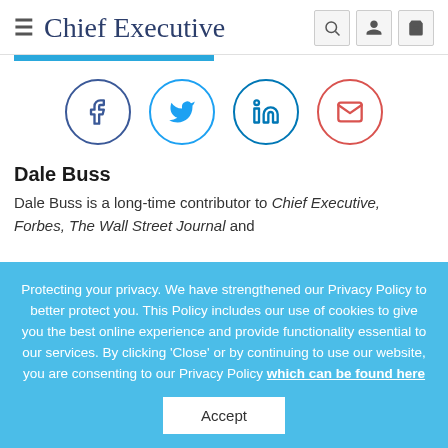Chief Executive
[Figure (illustration): Social sharing icons: Facebook (dark blue circle), Twitter (light blue circle), LinkedIn (teal circle), Email (red circle)]
Dale Buss
Dale Buss is a long-time contributor to Chief Executive, Forbes, The Wall Street Journal and
Protecting your privacy. We have strengthened our Privacy Policy to better protect you. This Policy includes our use of cookies to give you the best online experience and provide functionality essential to our services. By clicking 'Close' or by continuing to use our website, you are consenting to our Privacy Policy which can be found here
Accept